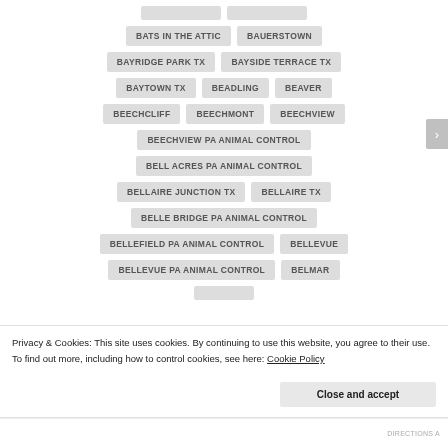BATS IN THE ATTIC
BAUERSTOWN
BAYRIDGE PARK TX
BAYSIDE TERRACE TX
BAYTOWN TX
BEADLING
BEAVER
BEECHCLIFF
BEECHMONT
BEECHVIEW
BEECHVIEW PA ANIMAL CONTROL
BELL ACRES PA ANIMAL CONTROL
BELLAIRE JUNCTION TX
BELLAIRE TX
BELLE BRIDGE PA ANIMAL CONTROL
BELLEFIELD PA ANIMAL CONTROL
BELLEVUE
BELLEVUE PA ANIMAL CONTROL
BELMAR
Privacy & Cookies: This site uses cookies. By continuing to use this website, you agree to their use.
To find out more, including how to control cookies, see here: Cookie Policy
Close and accept